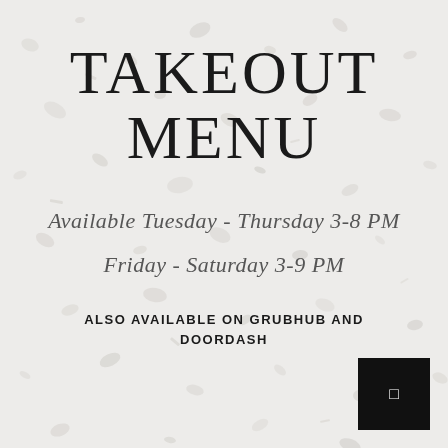TAKEOUT
MENU
Available Tuesday - Thursday 3-8 PM
Friday - Saturday 3-9 PM
ALSO AVAILABLE ON GRUBHUB AND DOORDASH